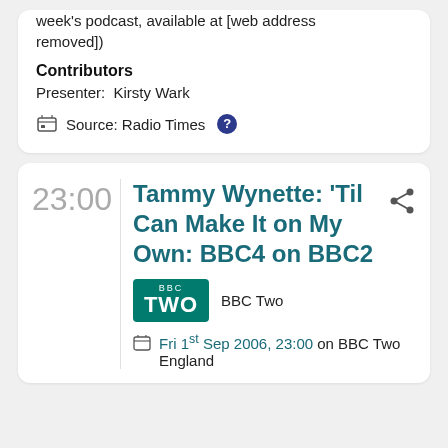week's podcast, available at [web address removed])
Contributors
Presenter:  Kirsty Wark
Source: Radio Times
23:00
Tammy Wynette: 'Til Can Make It on My Own: BBC4 on BBC2
BBC Two
Fri 1st Sep 2006, 23:00 on BBC Two England